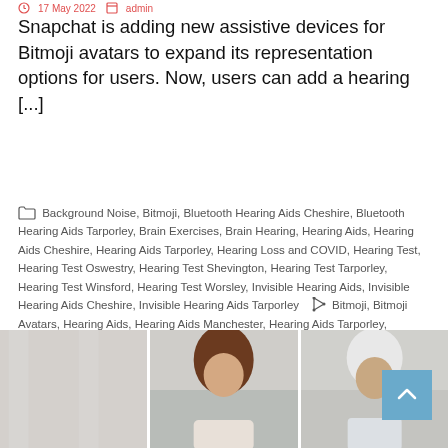17 May 2022  admin
Snapchat is adding new assistive devices for Bitmoji avatars to expand its representation options for users. Now, users can add a hearing [...]
Background Noise, Bitmoji, Bluetooth Hearing Aids Cheshire, Bluetooth Hearing Aids Tarporley, Brain Exercises, Brain Hearing, Hearing Aids, Hearing Aids Cheshire, Hearing Aids Tarporley, Hearing Loss and COVID, Hearing Test, Hearing Test Oswestry, Hearing Test Shevington, Hearing Test Tarporley, Hearing Test Winsford, Hearing Test Worsley, Invisible Hearing Aids, Invisible Hearing Aids Cheshire, Invisible Hearing Aids Tarporley  Bitmoji, Bitmoji Avatars, Hearing Aids, Hearing Aids Manchester, Hearing Aids Tarporley, Hearing Aids Winsford, Hearing Test, Hearing Tests, Hearing Tests Near Me, hummingbird hearingcare, Invisible Hearing Aids, Invisible Hearing Aids Cheshire
[Figure (photo): Three photos showing people, partially visible at the bottom of the page]